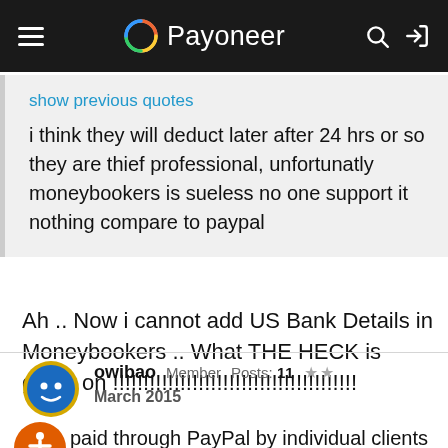Payoneer
show previous quotes
i think they will deduct later after 24 hrs or so they are thief professional, unfortunatly moneybookers is sueless no one support it nothing compare to paypal
Ah .. Now i cannot add US Bank Details in Moneybookers .. What THE HECK is going on !!!!!!!!!!!!!!!!!!!!!!!!!!!!!!!!!!!!!!!!
owibao  Member  Posts: 11  ★★
March 2015
paid through PayPal by individual clients not companies and I believe there are many of us who